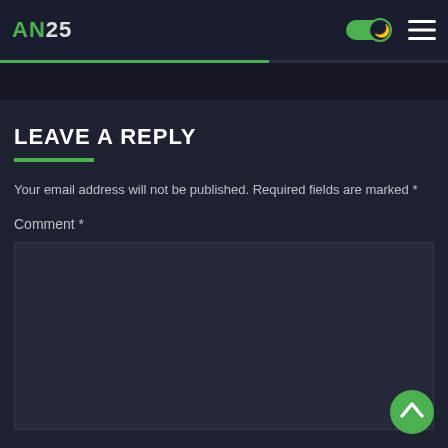AN25
LEAVE A REPLY
Your email address will not be published. Required fields are marked *
Comment *
[Figure (screenshot): Empty comment text area input box]